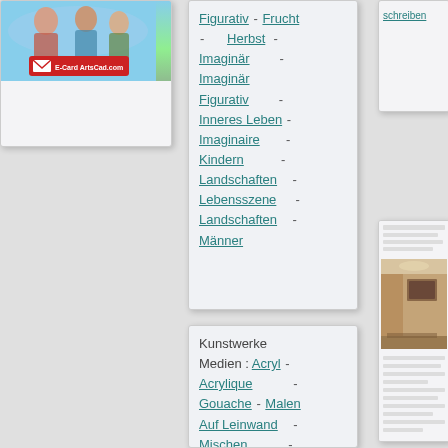[Figure (screenshot): E-Card ArtsCad.com promotional card with people image and email badge]
Figurativ - Frucht - Herbst - Imaginär - Imaginär Figurativ - Inneres Leben - Imaginaire - Kindern - Landschaften - Lebensszene - Landschaften - Männer
[Figure (screenshot): Partial right card showing 'schreiben' link]
[Figure (photo): Room interior photograph thumbnail]
Kunstwerke Medien : Acryl - Acrylique - Gouache - Malen Auf Leinwand - Mischen - Mischen Technik - Mischtechnik - Mixte - Pastell - Stoff...